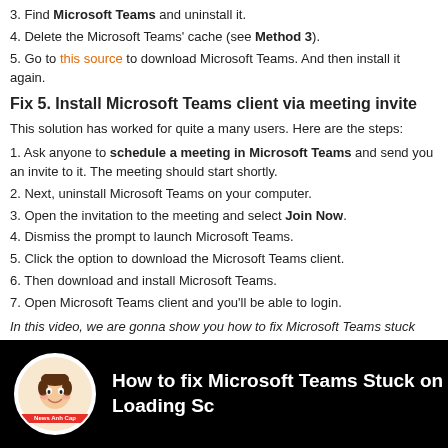3. Find Microsoft Teams and uninstall it.
4. Delete the Microsoft Teams' cache (see Method 3).
5. Go to this source to download Microsoft Teams. And then install it again.
Fix 5. Install Microsoft Teams client via meeting invite
This solution has worked for quite a many users. Here are the steps:
1. Ask anyone to schedule a meeting in Microsoft Teams and send you an invite to it. The meeting should start shortly.
2. Next, uninstall Microsoft Teams on your computer.
3. Open the invitation to the meeting and select Join Now.
4. Dismiss the prompt to launch Microsoft Teams.
5. Click the option to download the Microsoft Teams client.
6. Then download and install Microsoft Teams.
7. Open Microsoft Teams client and you'll be able to login.
In this video, we are gonna show you how to fix Microsoft Teams stuck while loading in Windows 10:
[Figure (screenshot): YouTube video thumbnail showing 'How to fix Microsoft Teams Stuck on Loading Sc...' with a cartoon avatar logo on black background]